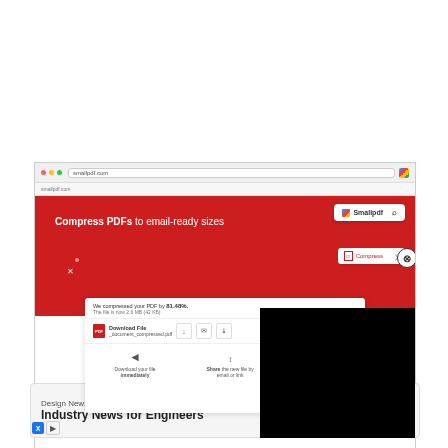[Figure (screenshot): Screenshot of Smallpdf website showing 'Compress PDFs to email-ready sizes' with red header, a compression result dialog ('We compressed your PDF by 81.48%. The file is now 2.6 MB (42 KB)'), download and share options, and a black video overlay. A circular close button appears at the right edge.]
[Figure (screenshot): Advertisement banner for Design News: 'Industry News for Engineers' with an OPEN button, and ad attribution icons (X and triangular play icon) at the bottom left.]